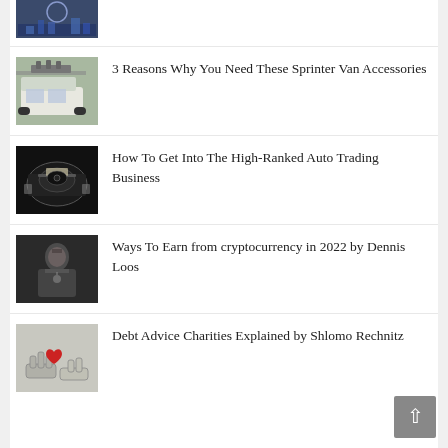[Figure (photo): Thumbnail image of a city/technology scene at top]
[Figure (photo): Thumbnail of a white Sprinter van with roof rack]
3 Reasons Why You Need These Sprinter Van Accessories
[Figure (photo): Thumbnail of a car front grill, auto trading]
How To Get Into The High-Ranked Auto Trading Business
[Figure (photo): Thumbnail of a man in a dark jacket, cryptocurrency]
Ways To Earn from cryptocurrency in 2022 by Dennis Loos
[Figure (photo): Thumbnail of a robot/hand holding a red heart, charity]
Debt Advice Charities Explained by Shlomo Rechnitz